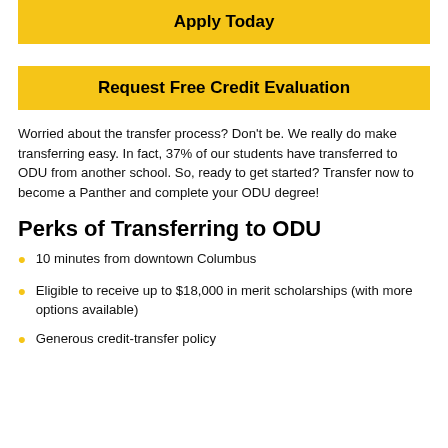Apply Today
Request Free Credit Evaluation
Worried about the transfer process? Don't be. We really do make transferring easy. In fact, 37% of our students have transferred to ODU from another school. So, ready to get started? Transfer now to become a Panther and complete your ODU degree!
Perks of Transferring to ODU
10 minutes from downtown Columbus
Eligible to receive up to $18,000 in merit scholarships (with more options available)
Generous credit-transfer policy